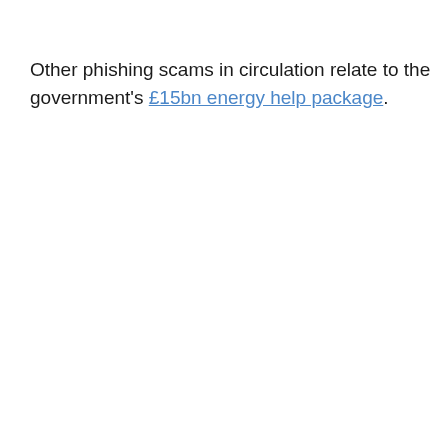Other phishing scams in circulation relate to the government's £15bn energy help package.